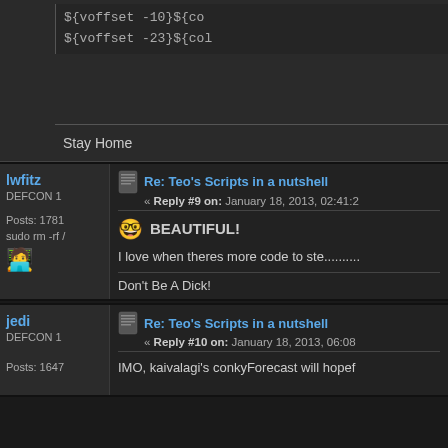${voffset -10}${co
${voffset -23}${col
Stay Home
lwfitz
DEFCON 1
Posts: 1781
sudo rm -rf /
Re: Teo's Scripts in a nutshell
« Reply #9 on: January 18, 2013, 02:41:2
BEAUTIFUL!
I love when theres more code to ste..........
Don't Be A Dick!
jedi
DEFCON 1
Posts: 1647
Re: Teo's Scripts in a nutshell
« Reply #10 on: January 18, 2013, 06:08
IMO, kaivalagi's conkyForecast will hopef